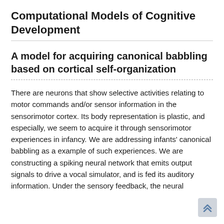Computational Models of Cognitive Development
A model for acquiring canonical babbling based on cortical self-organization
There are neurons that show selective activities relating to motor commands and/or sensor information in the sensorimotor cortex. Its body representation is plastic, and especially, we seem to acquire it through sensorimotor experiences in infancy. We are addressing infants' canonical babbling as a example of such experiences. We are constructing a spiking neural network that emits output signals to drive a vocal simulator, and is fed its auditory information. Under the sensory feedback, the neural